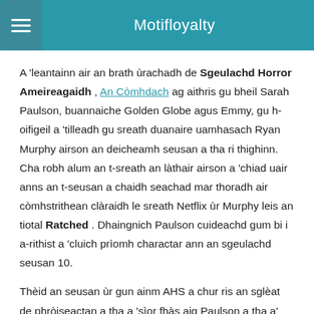Motifloyalty
A 'leantainn air an brath ùrachadh de Sgeulachd Horror Ameireagaidh , An Còmhdach ag aithris gu bheil Sarah Paulson, buannaiche Golden Globe agus Emmy, gu h-oifigeil a 'tilleadh gu sreath duanaire uamhasach Ryan Murphy airson an deicheamh seusan a tha ri thighinn. Cha robh alum an t-sreath an làthair airson a 'chiad uair anns an t-seusan a chaidh seachad mar thoradh air còmhstrithean clàraidh le sreath Netflix ùr Murphy leis an tiotal Ratched . Dhaingnich Paulson cuideachd gum bi i a-rithist a 'cluich prìomh charactar ann an sgeulachd seusan 10.
Thèid an seusan ùr gun ainm AHS a chur ris an sglèat de phròiseactan a tha a 'sìor fhàs aig Paulson a tha a' toirt a-steach: an t-sreath ùr cuibhrichte FX A 'Bh-